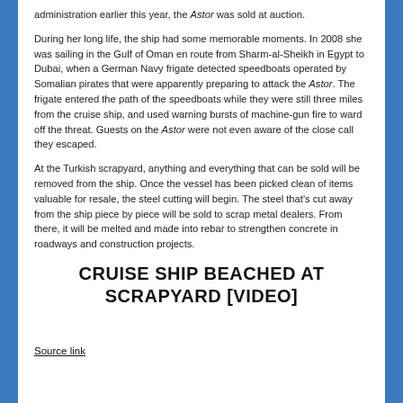administration earlier this year, the Astor was sold at auction.
During her long life, the ship had some memorable moments. In 2008 she was sailing in the Gulf of Oman en route from Sharm-al-Sheikh in Egypt to Dubai, when a German Navy frigate detected speedboats operated by Somalian pirates that were apparently preparing to attack the Astor. The frigate entered the path of the speedboats while they were still three miles from the cruise ship, and used warning bursts of machine-gun fire to ward off the threat. Guests on the Astor were not even aware of the close call they escaped.
At the Turkish scrapyard, anything and everything that can be sold will be removed from the ship. Once the vessel has been picked clean of items valuable for resale, the steel cutting will begin. The steel that's cut away from the ship piece by piece will be sold to scrap metal dealers. From there, it will be melted and made into rebar to strengthen concrete in roadways and construction projects.
CRUISE SHIP BEACHED AT SCRAPYARD [VIDEO]
Source link